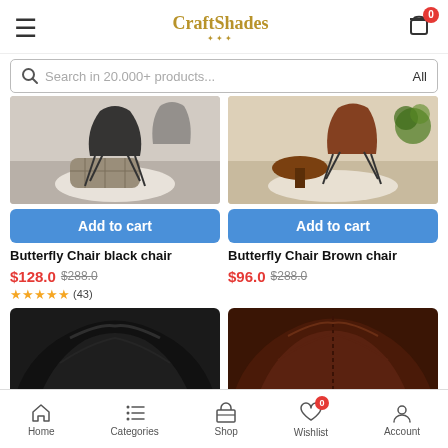CraftShades — Search in 20.000+ products... All
[Figure (screenshot): Product image of Butterfly Chair black chair — room scene with patterned pouf on white rug]
Add to cart
Butterfly Chair black chair
$128.0  $288.0
★★★★★ (43)
[Figure (screenshot): Product image of Butterfly Chair Brown chair — room scene with wooden round side table and rug]
Add to cart
Butterfly Chair Brown chair
$96.0  $288.0
[Figure (photo): Cropped close-up of black leather butterfly chair seat]
[Figure (photo): Cropped close-up of brown leather butterfly chair seat]
Home  Categories  Shop  Wishlist  Account